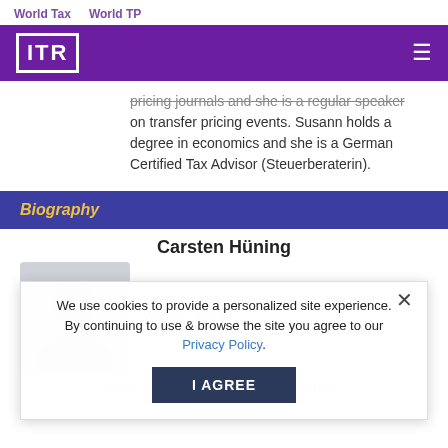World Tax   World TP
[Figure (logo): ITR logo in white on purple navigation bar with hamburger menu icon]
pricing journals and she is a regular speaker on transfer pricing events. Susann holds a degree in economics and she is a German Certified Tax Advisor (Steuerberaterin).
Biography
Carsten Hüning
[Figure (photo): Greyed out profile photo of Carsten Hüning]
Email: carstenhüning@de.pwc.com
Website: pwc.de
We use cookies to provide a personalized site experience. By continuing to use & browse the site you agree to our Privacy Policy.
I AGREE
Carsten Hüning is a transfer pricing expert...